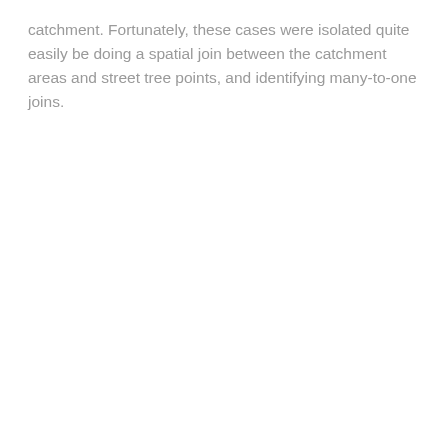catchment. Fortunately, these cases were isolated quite easily be doing a spatial join between the catchment areas and street tree points, and identifying many-to-one joins.